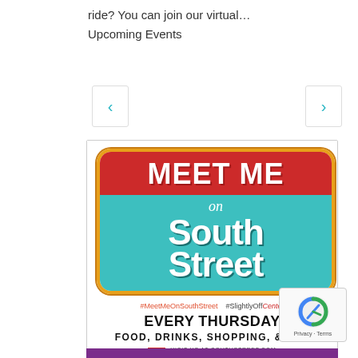ride? You can join our virtual…
Upcoming Events
[Figure (logo): Meet Me on South Street event logo/flyer. Red top section with 'MEET ME' in large white bold letters. Teal bottom section with 'on South Street' in white bold letters. Hashtags: #MeetMeOnSouthStreet #SlightlyOffCenter. Text: EVERY THURSDAY, FOOD, DRINKS, SHOPPING, & ART. Visit us at southstreet.com, Design by Jay McQuirns.]